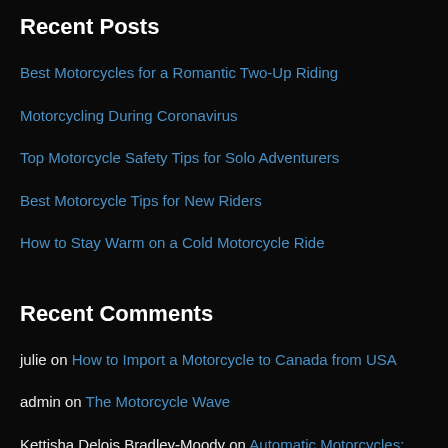Recent Posts
Best Motorcycles for a Romantic Two-Up Riding
Motorcycling During Coronavirus
Top Motorcycle Safety Tips for Solo Adventurers
Best Motorcycle Tips for New Riders
How to Stay Warm on a Cold Motorcycle Ride
Recent Comments
julie on How to Import a Motorcycle to Canada from USA
admin on The Motorcycle Wave
Kettisha Delois Bradley-Moody on Automatic Motorcycles: Are they even a thing?
Larry Meidinger on How to Import a Motorcycle to Canada from USA